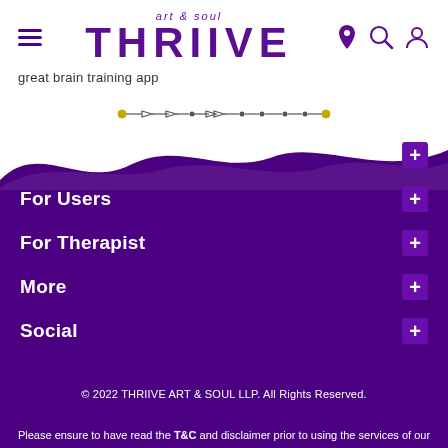[Figure (logo): Thriive Art & Soul logo with hamburger menu, location pin, search, and profile icons in navbar]
great brain training app
[Figure (illustration): Decorative arrow/ornament divider line]
[Figure (illustration): Purple paint splash wave separating white and purple sections]
Thriive
For Users
For Therapist
More
Social
© 2022 THRIIVE ART & SOUL LLP. All Rights Reserved.
Please ensure to have read the T&C and disclaimer prior to using the services of our